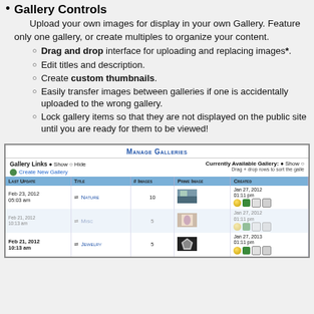Gallery Controls — Upload your own images for display in your own Gallery. Feature only one gallery, or create multiples to organize your content.
Drag and drop interface for uploading and replacing images*.
Edit titles and description.
Create custom thumbnails.
Easily transfer images between galleries if one is accidentally uploaded to the wrong gallery.
Lock gallery items so that they are not displayed on the public site until you are ready for them to be viewed!
[Figure (screenshot): Screenshot of Manage Galleries interface showing a table with columns: Last Update, Title, # Images, Prime Image, Created. Rows include Nature (10 images), Misc (5 images), Jewelry (5 images) with dates, thumbnails, and action icons.]